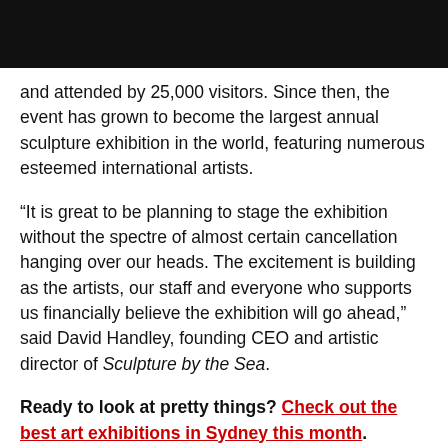and attended by 25,000 visitors. Since then, the event has grown to become the largest annual sculpture exhibition in the world, featuring numerous esteemed international artists.
“It is great to be planning to stage the exhibition without the spectre of almost certain cancellation hanging over our heads. The excitement is building as the artists, our staff and everyone who supports us financially believe the exhibition will go ahead,” said David Handley, founding CEO and artistic director of Sculpture by the Sea.
Ready to look at pretty things? Check out the best art exhibitions in Sydney this month.